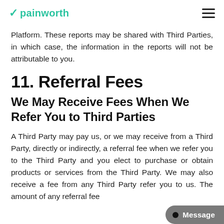painworth
Platform. These reports may be shared with Third Parties, in which case, the information in the reports will not be attributable to you.
11. Referral Fees
We May Receive Fees When We Refer You to Third Parties
A Third Party may pay us, or we may receive from a Third Party, directly or indirectly, a referral fee when we refer you to the Third Party and you elect to purchase or obtain products or services from the Third Party. We may also receive a fee from any Third Party refer you to us. The amount of any referral fee